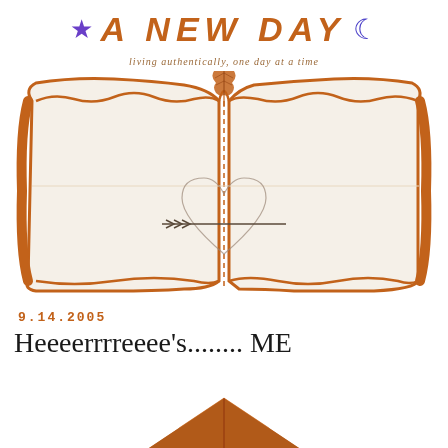★ A NEW DAY ☽
living authentically, one day at a time
[Figure (illustration): Open book illustration with an autumn maple leaf at the top center spine, a vertical dashed line dividing the two pages, and a small heart with an arrow through it in the lower center area. The book has wavy orange-brown edges suggesting a worn, artistic style.]
9.14.2005
Heeeerrrreeee's........ ME
[Figure (illustration): Partial view of an orange/brown illustrated envelope or book corner at the bottom of the page, cropped.]